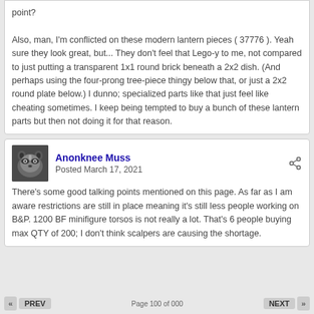point?
Also, man, I'm conflicted on these modern lantern pieces ( 37776 ). Yeah sure they look great, but... They don't feel that Lego-y to me, not compared to just putting a transparent 1x1 round brick beneath a 2x2 dish. (And perhaps using the four-prong tree-piece thingy below that, or just a 2x2 round plate below.) I dunno; specialized parts like that just feel like cheating sometimes. I keep being tempted to buy a bunch of these lantern parts but then not doing it for that reason.
Anonknee Muss
Posted March 17, 2021
There's some good talking points mentioned on this page. As far as I am aware restrictions are still in place meaning it's still less people working on B&P. 1200 BF minifigure torsos is not really a lot. That's 6 people buying max QTY of 200; I don't think scalpers are causing the shortage.
PREV   Page 100 of 000   NEXT